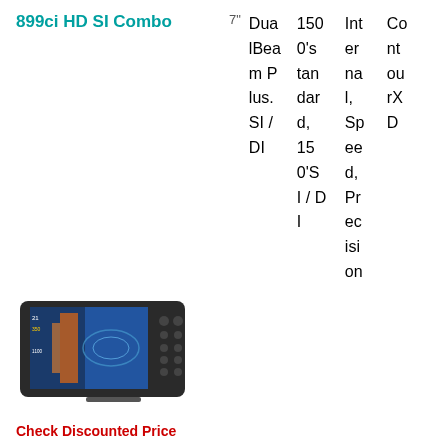899ci HD SI Combo
| Display | Transducer | Depth | Antenna | Other |
| --- | --- | --- | --- | --- |
| 7" | Dual IBeam Plus. SI / DI | 1500's tandar d, 150'S I / D I | Internal, Speed, Precision | CountourXD |
[Figure (photo): Humminbird 899ci HD SI Combo fish finder device showing screen with side imaging sonar display]
Check Discounted Price
Launched in 2014, the 899ci HD SI Combo fish finder from Humminbird was one of the best Side Imaging fish finders at that time. Although it was discontinued, it may